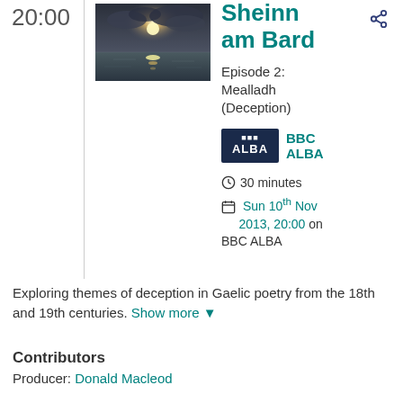20:00
[Figure (photo): Sunset over water/sea with dramatic clouds and light rays reflecting on the surface]
Sheinn am Bard
Episode 2: Mealladh (Deception)
[Figure (logo): BBC ALBA channel logo — dark navy rectangle with BBC dots and ALBA text in white]
BBC ALBA
30 minutes
Sun 10th Nov 2013, 20:00 on BBC ALBA
Exploring themes of deception in Gaelic poetry from the 18th and 19th centuries. Show more
Contributors
Producer: Donald Macleod